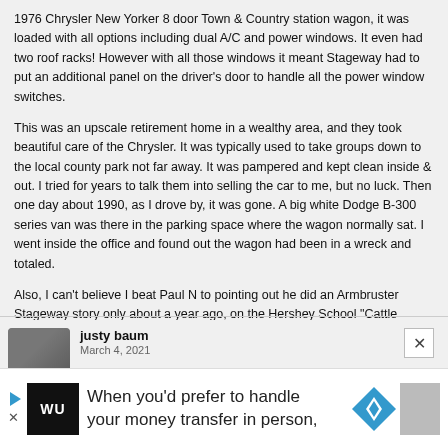1976 Chrysler New Yorker 8 door Town & Country station wagon, it was loaded with all options including dual A/C and power windows. It even had two roof racks! However with all those windows it meant Stageway had to put an additional panel on the driver's door to handle all the power window switches.
This was an upscale retirement home in a wealthy area, and they took beautiful care of the Chrysler. It was typically used to take groups down to the local county park not far away. It was pampered and kept clean inside & out. I tried for years to talk them into selling the car to me, but no luck. Then one day about 1990, as I drove by, it was gone. A big white Dodge B-300 series van was there in the parking space where the wagon normally sat. I went inside the office and found out the wagon had been in a wreck and totaled.
Also, I can't believe I beat Paul N to pointing out he did an Armbruster Stageway story only about a year ago, on the Hershey School "Cattle wagons". The link is here: https://www.curbsideclassic.com/blog/stageway-14-passenger-stretch-wagons-the-cattle-wagons-of-milton-hershey-school/
Reply
justy baum
March 4, 2021
*I can't re-afface all I know is here; right can just pulled up?
When you'd prefer to handle your money transfer in person,